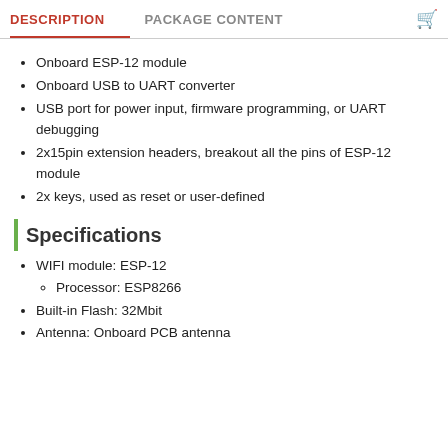DESCRIPTION   PACKAGE CONTENT
Onboard ESP-12 module
Onboard USB to UART converter
USB port for power input, firmware programming, or UART debugging
2x15pin extension headers, breakout all the pins of ESP-12 module
2x keys, used as reset or user-defined
Specifications
WIFI module: ESP-12
Processor: ESP8266
Built-in Flash: 32Mbit
Antenna: Onboard PCB antenna